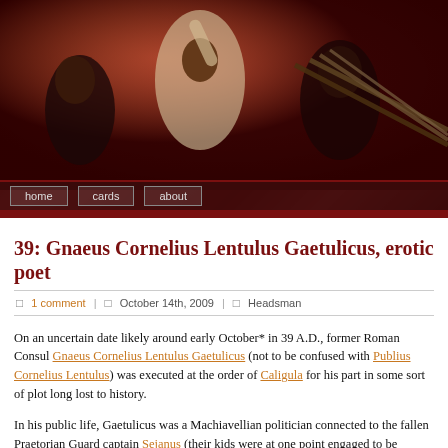[Figure (illustration): Dark reddish-brown painting showing figures in dramatic poses, resembling a historical or classical artwork. Navigation bar at bottom with 'home', 'cards', 'about' buttons.]
39: Gnaeus Cornelius Lentulus Gaetulicus, erotic poet
1 comment | October 14th, 2009 | Headsman
On an uncertain date likely around early October* in 39 A.D., former Roman Consul Gnaeus Cornelius Lentulus Gaetulicus (not to be confused with Publius Cornelius Lentulus) was executed at the order of Caligula for his part in some sort of plot long lost to history.
In his public life, Gaetulicus was a Machiavellian politician connected to the fallen Praetorian Guard captain Sejanus (their kids were at one point engaged to be married). He evidently survived the post-Sejanus purge with an adroit bit of written diplomacy to the Praetorian's patron-cum-executioner the Emperor Tiberius, tactfully pointing out that the Emperor had made the same errant choice of alliance. Thus did Gaetulicus retain both his head and his career.
After a decade milking his German province, and Tiberius shuffled off the mortal coil and young Caligula now ruling the empire, Gaetulicus seemingly** involved